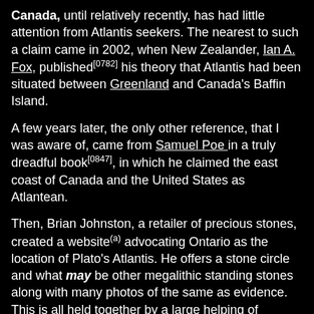Canada, until relatively recently, has had little attention from Atlantis seekers. The nearest to such a claim came in 2002, when New Zealander, Ian A. Fox, published[0782] his theory that Atlantis had been situated between Greenland and Canada's Baffin Island.
A few years later, the only other reference, that I was aware of, came from Samuel Poe in a truly dreadful book[0847], in which he claimed the east coast of Canada and the United States as Atlantean.
Then, Brian Johnston, a retailer of precious stones, created a website(a) advocating Ontario as the location of Plato's Atlantis. He offers a stone circle and what may be other megalithic standing stones along with many photos of the same as evidence. This is all held together by a large helping of speculation. Finally, after describing in some detail a site in Ontario's Northumberland County, he concludes that the location "might not be Atlantis!"
Nevertheless, the idea that the ancient Greeks had an awareness of America has persisted, with some claiming